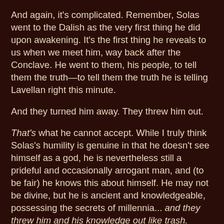And again, it's complicated. Remember, Solas went to the Dalish as the very first thing he did upon awakening. It's the first thing he reveals to us when we meet him, way back after the Conclave. He went to them, his people, to tell them the truth—to tell them the truth he is telling Lavellan right this minute.
And they turned him away. They threw him out.
That's what he cannot accept. While I truly think Solas's humility is genuine in that he doesn't see himself as a god, he is nevertheless still a prideful and occasionally arrogant man, and (to be fair) he knows this about himself. He may not be divine, but he is ancient and knowledgeable, possessing the secrets of millennia... and they threw him and his knowledge out like trash.
No wonder he hates the Dalish. He loves them too...